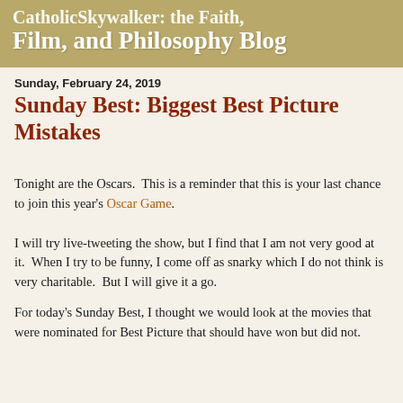CatholicSkywalker: the Faith, Film, and Philosophy Blog
Sunday, February 24, 2019
Sunday Best: Biggest Best Picture Mistakes
Tonight are the Oscars.  This is a reminder that this is your last chance to join this year's Oscar Game.
I will try live-tweeting the show, but I find that I am not very good at it.  When I try to be funny, I come off as snarky which I do not think is very charitable.  But I will give it a go.
For today's Sunday Best, I thought we would look at the movies that were nominated for Best Picture that should have won but did not.